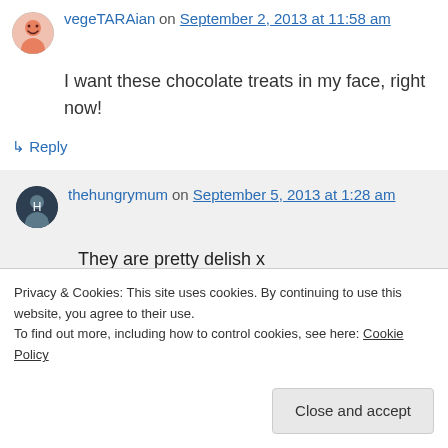vegeTARAian on September 2, 2013 at 11:58 am
I want these chocolate treats in my face, right now!
↳ Reply
thehungrymum on September 5, 2013 at 1:28 am
They are pretty delish x
Privacy & Cookies: This site uses cookies. By continuing to use this website, you agree to their use.
To find out more, including how to control cookies, see here: Cookie Policy
Close and accept